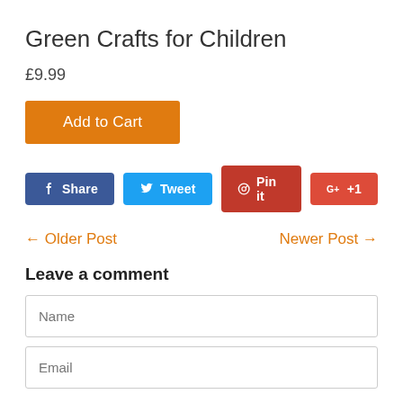Green Crafts for Children
£9.99
Add to Cart
[Figure (screenshot): Social sharing buttons: Facebook Share, Tweet, Pinterest Pin it, Google+ +1]
← Older Post    Newer Post →
Leave a comment
Name (input field)
Email (input field)